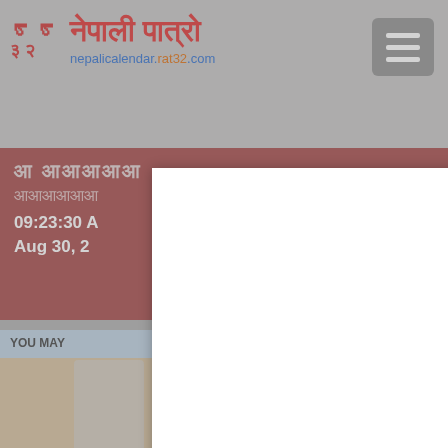[Figure (screenshot): Nepali calendar website header with logo showing stylized characters and text 'नेपाली पात्रो' in red, URL 'nepalicalendar.rat32.com' in blue, and hamburger menu button on the right]
नेपाली पात्रो
nepalicalendar.rat32.com
09:23:30 A
Aug 30, 2
close(X)
YOU MAY
gid